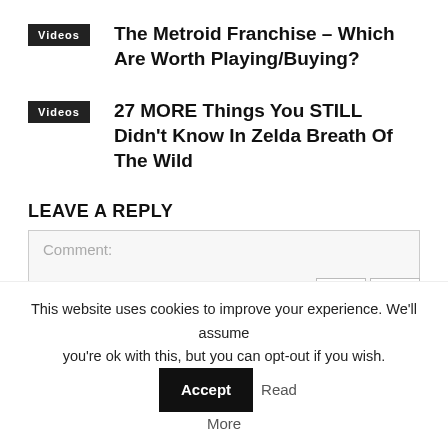Videos
The Metroid Franchise – Which Are Worth Playing/Buying?
Videos
27 MORE Things You STILL Didn't Know In Zelda Breath Of The Wild
[Figure (other): Navigation prev/next arrow buttons]
LEAVE A REPLY
Comment:
This website uses cookies to improve your experience. We'll assume you're ok with this, but you can opt-out if you wish. Accept Read More